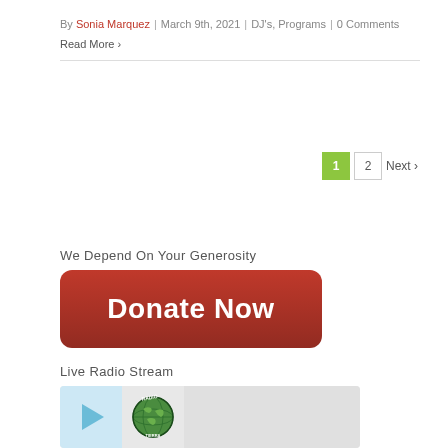By Sonia Marquez | March 9th, 2021 | DJ's, Programs | 0 Comments
Read More >
1  2  Next >
We Depend On Your Generosity
[Figure (other): Red Donate Now button with rounded corners and gradient background]
Live Radio Stream
[Figure (other): Radio player widget with play button, Radio Tierra logo, and waveform area]